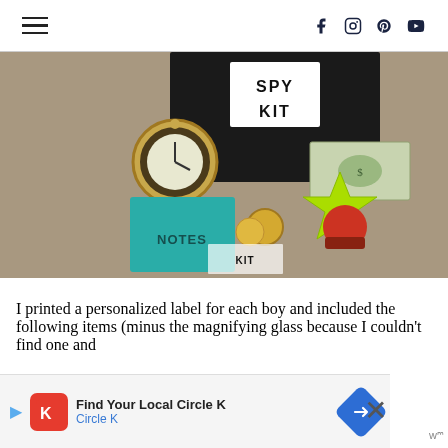navigation and social icons header
[Figure (photo): A spy kit laid out on a fuzzy surface showing a pocket watch, a teal notebook labeled NOTES, a SPY KIT box, a dollar bill, gold coins, a star-shaped toy, and a red toy]
I printed a personalized label for each boy and included the following items (minus the magnifying glass because I couldn't find one and
[Figure (other): Advertisement banner: Find Your Local Circle K - Circle K, with play button, red Circle K logo, blue navigation arrow icon, close X button, and wp logo]